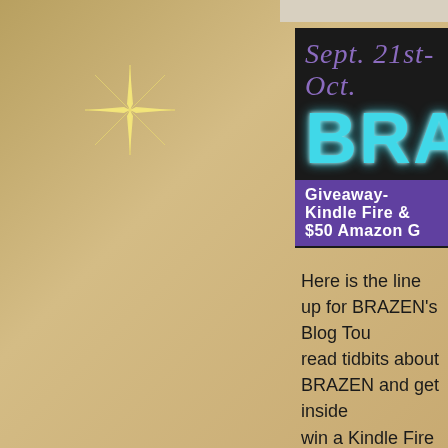[Figure (infographic): Blog tour banner for BRAZEN, showing dark background with purple title text 'Sept. 21st- Oct.' at top, large cyan glowing text 'BRAZE', purple bar reading 'Giveaway- Kindle Fire & $50 Amazon G', and black bar reading 'BLOG TOUR']
Here is the line up for BRAZEN's Blog Tour read tidbits about BRAZEN and get inside win a Kindle Fire and a $50 Amazon gift c winners. The Kindle Fire is open to US or international.
Be sure to leave a comment and pick up the end of their post to earn extra points Amazon gift card giveaway! Collect all th to spell out the secret message to earn